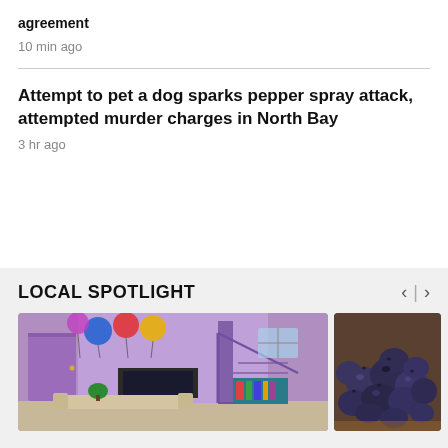agreement
10 min ago
Attempt to pet a dog sparks pepper spray attack, attempted murder charges in North Bay
3 hr ago
LOCAL SPOTLIGHT
[Figure (photo): Interior of a purple-themed room with colorful balloons hanging from the ceiling, a TV, bookshelves, staircase, and beige sofa]
[Figure (photo): Close-up of dark blue/purple round fruits (plums or similar) in a wooden bowl]